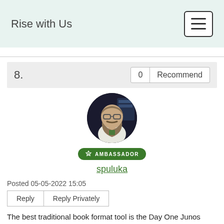Rise with Us
8.
0  Recommend
[Figure (photo): Circular avatar photo of a bearded man with glasses wearing a white shirt, against a dark background with equipment]
AMBASSADOR
spuluka
Posted 05-05-2022 15:05
Reply   Reply Privately
The best traditional book format tool is the Day One Junos Beginners Guide that covers all the topics in the JNCIA-Junos